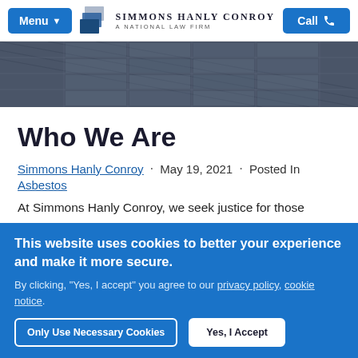Menu | SIMMONS HANLY CONROY A NATIONAL LAW FIRM | Call
[Figure (photo): Architectural photo of a glass building facade with dark metal grid pattern]
Who We Are
Simmons Hanly Conroy · May 19, 2021 · Posted In Asbestos
At Simmons Hanly Conroy, we seek justice for those
This website uses cookies to better your experience and make it more secure. By clicking, "Yes, I accept" you agree to our privacy policy, cookie notice.
Only Use Necessary Cookies | Yes, I Accept